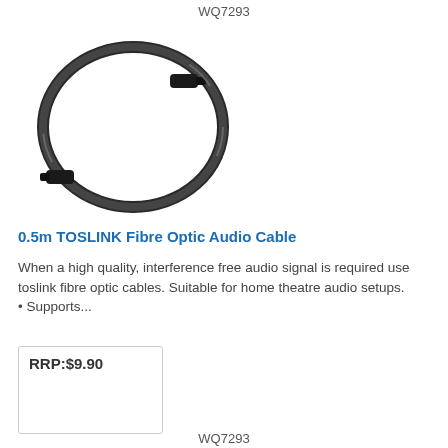WQ7293
[Figure (photo): Black TOSLINK fibre optic audio cable coiled in a circle with connectors visible at each end]
0.5m TOSLINK Fibre Optic Audio Cable
When a high quality, interference free audio signal is required use toslink fibre optic cables. Suitable for home theatre audio setups. • Supports...
| RRP:$9.90 |
WQ7293